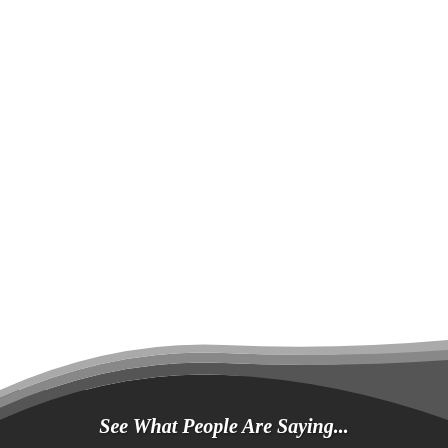[Figure (other): Page with white background and a decorative black and grey curved banner at the bottom containing the text 'See What People Are Saying...']
See What People Are Saying...